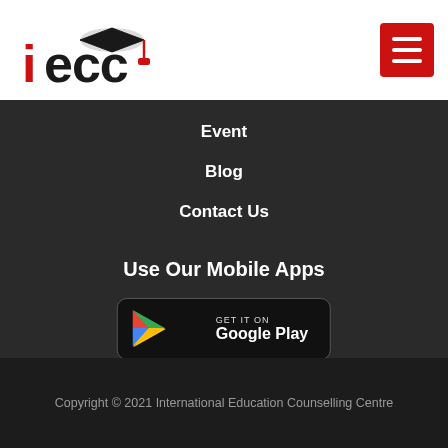[Figure (logo): IECC logo with graduation cap icon and red text]
[Figure (other): Red hamburger menu button with three white horizontal lines]
Event
Blog
Contact Us
Use Our Mobile Apps
[Figure (other): GET IT ON Google Play badge/button]
Copyright © 2021 International Education Counselling Centre